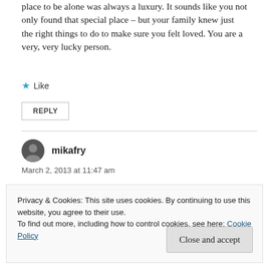place to be alone was always a luxury. It sounds like you not only found that special place – but your family knew just the right things to do to make sure you felt loved. You are a very, very lucky person.
★ Like
REPLY
mikafry
March 2, 2013 at 11:47 am
Privacy & Cookies: This site uses cookies. By continuing to use this website, you agree to their use.
To find out more, including how to control cookies, see here: Cookie Policy
Close and accept